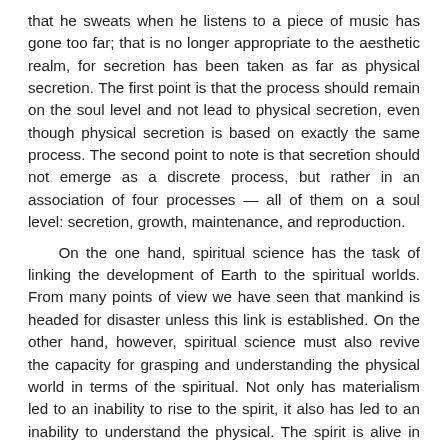that he sweats when he listens to a piece of music has gone too far; that is no longer appropriate to the aesthetic realm, for secretion has been taken as far as physical secretion. The first point is that the process should remain on the soul level and not lead to physical secretion, even though physical secretion is based on exactly the same process. The second point to note is that secretion should not emerge as a discrete process, but rather in an association of four processes — all of them on a soul level: secretion, growth, maintenance, and reproduction.
   On the one hand, spiritual science has the task of linking the development of Earth to the spiritual worlds. From many points of view we have seen that mankind is headed for disaster unless this link is established. On the other hand, however, spiritual science must also revive the capacity for grasping and understanding the physical world in terms of the spiritual. Not only has materialism led to an inability to rise to the spirit, it also has led to an inability to understand the physical. The spirit is alive in everything physical. If it is lost sight of, it becomes impossible to understand the physical. Just ask yourselves, what could someone who knows nothing of spiritual realities know about the way an